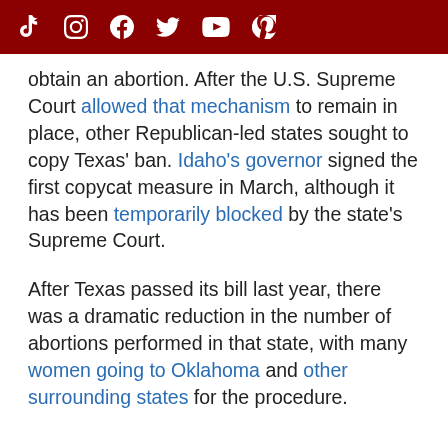[Social media icons: TikTok, Instagram, Facebook, Twitter, YouTube, Pinterest]
obtain an abortion. After the U.S. Supreme Court allowed that mechanism to remain in place, other Republican-led states sought to copy Texas' ban. Idaho's governor signed the first copycat measure in March, although it has been temporarily blocked by the state's Supreme Court.
After Texas passed its bill last year, there was a dramatic reduction in the number of abortions performed in that state, with many women going to Oklahoma and other surrounding states for the procedure.